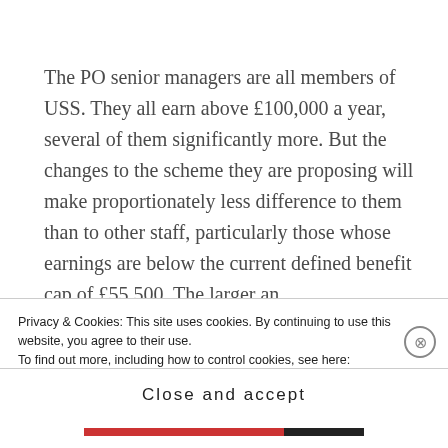The PO senior managers are all members of USS. They all earn above £100,000 a year, several of them significantly more. But the changes to the scheme they are proposing will make proportionately less difference to them than to other staff, particularly those whose earnings are below the current defined benefit cap of £55,500. The larger an
Privacy & Cookies: This site uses cookies. By continuing to use this website, you agree to their use.
To find out more, including how to control cookies, see here:
Cookie Policy
Close and accept